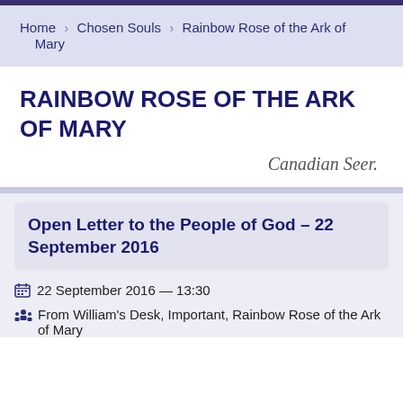Home > Chosen Souls > Rainbow Rose of the Ark of Mary
RAINBOW ROSE OF THE ARK OF MARY
Canadian Seer.
Open Letter to the People of God – 22 September 2016
22 September 2016 — 13:30
From William's Desk, Important, Rainbow Rose of the Ark of Mary